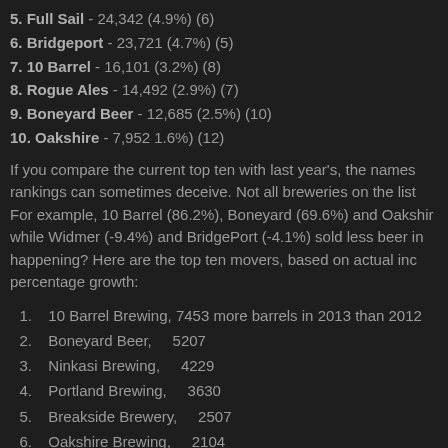5. Full Sail - 24,342 (4.9%) (6)
6. Bridgeport - 23,721 (4.7%) (5)
7. 10 Barrel - 16,101 (3.2%) (8)
8. Rogue Ales - 14,492 (2.9%) (7)
9. Boneyard Beer - 12,685 (2.5%) (10)
10. Oakshire - 7,952 1.6%) (12)
If you compare the current top ten with last year's, the names rankings can sometimes deceive. Not all breweries on the list For example, 10 Barrel (86.2%), Boneyard (69.6%) and Oakshir while Widmer (-9.4%) and BridgePort (-4.1%) sold less beer in happening? Here are the top ten movers, based on actual inc percentage growth:
1. 10 Barrel Brewing, 7453 more barrels in 2013 than 2012
2. Boneyard Beer,    5207
3. Ninkasi Brewing,    4229
4. Portland Brewing,    3630
5. Breakside Brewery,    2507
6. Oakshire Brewing,    2104